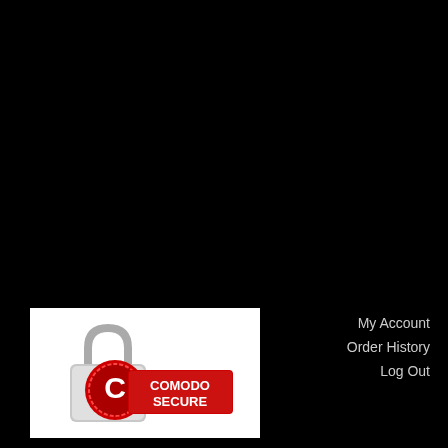[Figure (logo): Comodo Secure badge with padlock icon and red shield logo]
My Account
Order History
Log Out